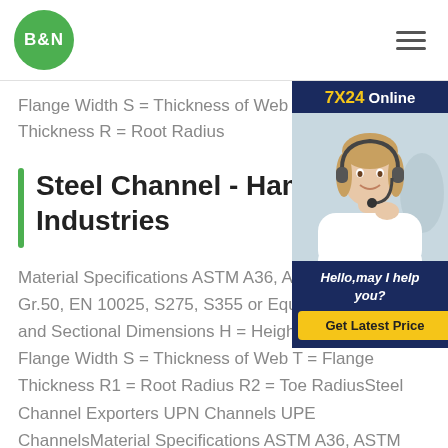B&N
Flange Width S = Thickness of Web T = Flange Thickness R = Root Radius
Steel Channel - Hammad S Industries
Material Specifications ASTM A36, ASTM Gr.50, EN 10025, S275, S355 or Equivalent and Sectional Dimensions H = Height of Channel B = Flange Width S = Thickness of Web T = Flange Thickness R1 = Root Radius R2 = Toe RadiusSteel Channel Exporters UPN Channels UPE ChannelsMaterial Specifications ASTM A36, ASTM
[Figure (photo): Customer service representative woman with headset smiling. Ad banner with '7X24 Online', 'Hello, may I help you?', and 'Get Latest Price' button.]